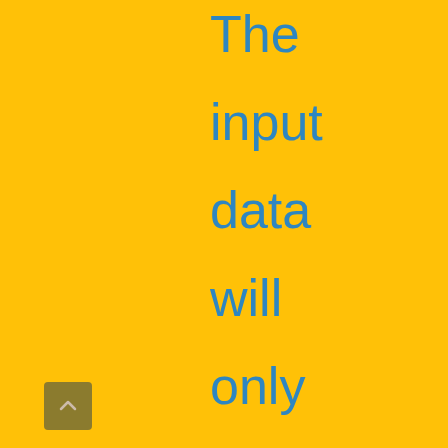The input data will only be used for the purpose of using
[Figure (other): Scroll-to-top button, small square with upward chevron arrow, dark olive/brown background]